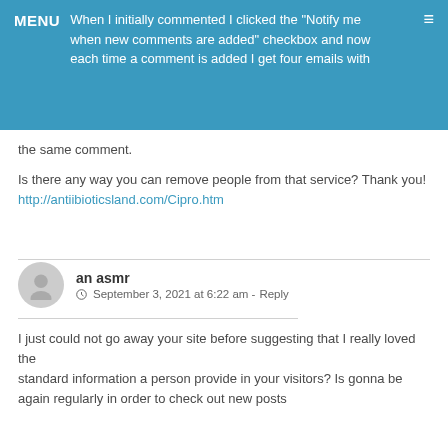MENU ☰
When I initially commented I clicked the "Notify me when new comments are added" checkbox and now each time a comment is added I get four emails with the same comment.
Is there any way you can remove people from that service? Thank you!
http://antiibioticsland.com/Cipro.htm
an asmr
September 3, 2021 at 6:22 am - Reply
I just could not go away your site before suggesting that I really loved the standard information a person provide in your visitors? Is gonna be again regularly in order to check out new posts